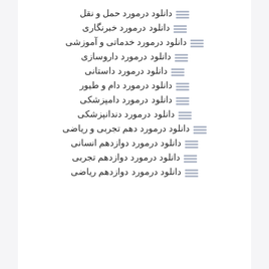دانلود درمورد حمل و نقل
دانلود درمورد خبرنگاری
دانلود درمورد خدماتی و آموزشی
دانلود درمورد داروسازی
دانلود درمورد داستانی
دانلود درمورد دام و طیور
دانلود درمورد دامپزشکی
دانلود درمورد دندانپزشکی
دانلود درمورد دهم تجربی و ریاضی
دانلود درمورد دوازدهم انسانی
دانلود درمورد دوازدهم تجربی
دانلود درمورد دوازدهم ریاضی